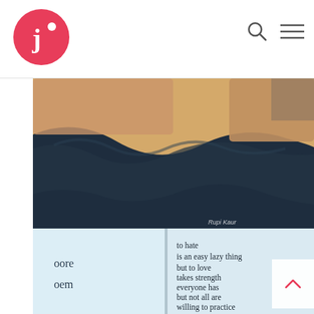J• logo with search and menu icons
[Figure (photo): Close-up photo of a dark navy blue blanket draped over tan/beige pillows on a bed]
[Figure (photo): Photo of an open book with light blue pages showing a poem text: 'to hate / is an easy lazy thing / but to love / takes strength / everyone has / but not all are / willing to practice'. Partial text on left page reads 'oore' and 'oem'. Caption text reads 'Rupi Kaur'.]